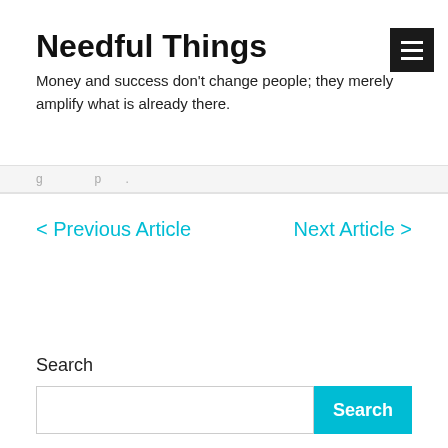Needful Things
Money and success don't change people; they merely amplify what is already there.
< Previous Article   Next Article >
Search
[Figure (screenshot): Search input field with cyan Search button]